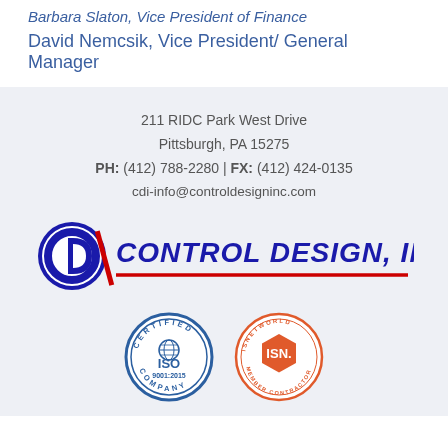Barbara Slaton, Vice President of Finance
David Nemcsik, Vice President/ General Manager
211 RIDC Park West Drive
Pittsburgh, PA 15275
PH: (412) 788-2280 | FX: (412) 424-0135
cdi-info@controldesigninc.com
[Figure (logo): Control Design, Inc. logo with CDI emblem on left and CONTROL DESIGN, INC. text in bold dark blue italic serif font with red underline]
[Figure (logo): ISO 9001:2015 Certified Company badge - circular blue badge]
[Figure (logo): ISNetworld Member Contractor badge - circular orange badge]